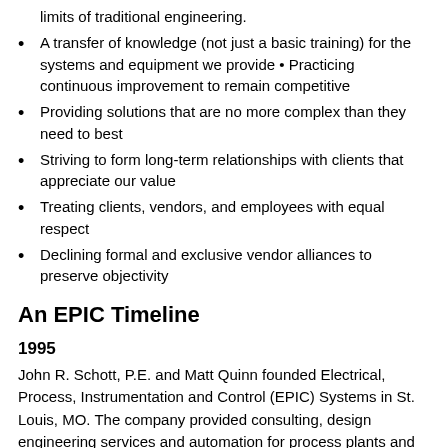limits of traditional engineering.
A transfer of knowledge (not just a basic training) for the systems and equipment we provide • Practicing continuous improvement to remain competitive
Providing solutions that are no more complex than they need to best
Striving to form long-term relationships with clients that appreciate our value
Treating clients, vendors, and employees with equal respect
Declining formal and exclusive vendor alliances to preserve objectivity
An EPIC Timeline
1995
John R. Schott, P.E. and Matt Quinn founded Electrical, Process, Instrumentation and Control (EPIC) Systems in St. Louis, MO. The company provided consulting, design engineering services and automation for process plants and packaging line integration.